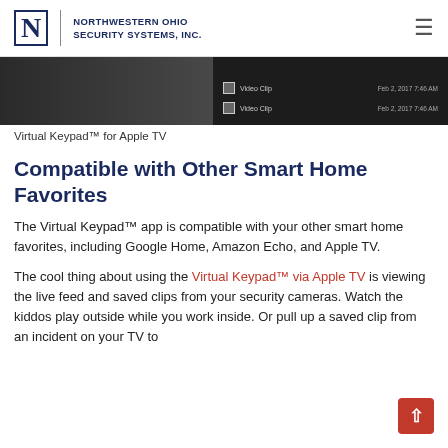Northwestern Ohio Security Systems, Inc.
[Figure (screenshot): Screenshot of Virtual Keypad app showing video clips on Apple TV interface with dark background. Right side shows two video clip entries with dates Feb 2, 2017 7:46 AM and Feb 2, 2017 7:46 AM.]
Virtual Keypad™ for Apple TV
Compatible with Other Smart Home Favorites
The Virtual Keypad™ app is compatible with your other smart home favorites, including Google Home, Amazon Echo, and Apple TV.
The cool thing about using the Virtual Keypad™ via Apple TV is viewing the live feed and saved clips from your security cameras. Watch the kiddos play outside while you work inside. Or pull up a saved clip from an incident on your TV to